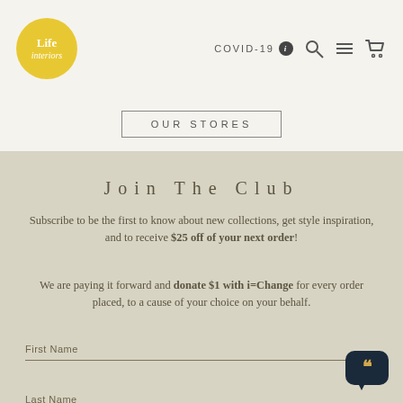Life Interiors | COVID-19 [info] [search] [menu] [cart]
OUR STORES
Join The Club
Subscribe to be the first to know about new collections, get style inspiration, and to receive $25 off of your next order!
We are paying it forward and donate $1 with i=Change for every order placed, to a cause of your choice on your behalf.
First Name
Last Name
Email